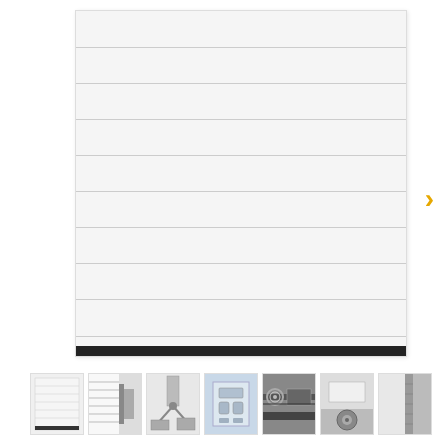[Figure (photo): White sectional garage door with horizontal ribbed panels and black rubber bottom seal, shown from front elevation. Navigation arrow (chevron) visible on the right side.]
[Figure (photo): Row of 7 thumbnail images of the garage door and its components: front view, cross-section corner detail, opener arm mechanism, control/lock box, spring and drum mechanism, rubber seal/roller detail, and edge seal detail. A yellow right-arrow chevron at the end indicates more thumbnails.]